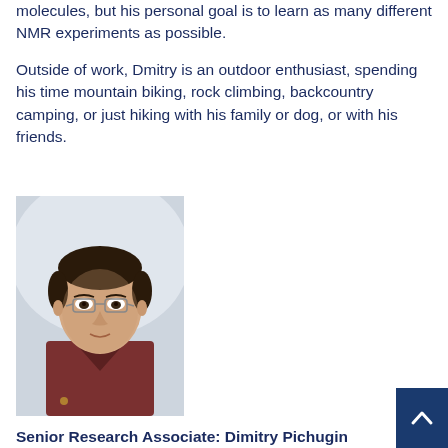molecules, but his personal goal is to learn as many different NMR experiments as possible.

Outside of work, Dmitry is an outdoor enthusiast, spending his time mountain biking, rock climbing, backcountry camping, or just hiking with his family or dog, or with his friends.
[Figure (photo): Headshot photo of Dmitry Pichugin, a young man with dark hair, glasses, wearing a dark red/maroon shirt, against a light background.]
Senior Research Associate: Dimitry Pichugin